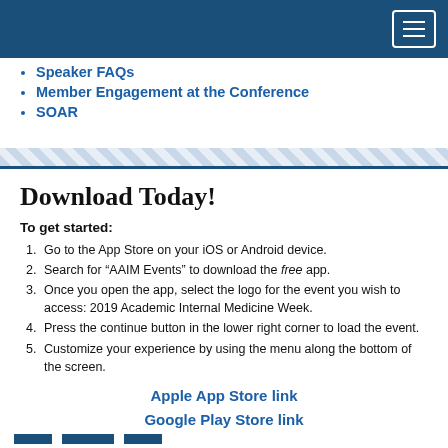Navigation header bar with hamburger menu
Speaker FAQs
Member Engagement at the Conference
SOAR
Download Today!
To get started:
Go to the App Store on your iOS or Android device.
Search for “AAIM Events” to download the free app.
Once you open the app, select the logo for the event you wish to access: 2019 Academic Internal Medicine Week.
Press the continue button in the lower right corner to load the event.
Customize your experience by using the menu along the bottom of the screen.
Apple App Store link
Google Play Store link